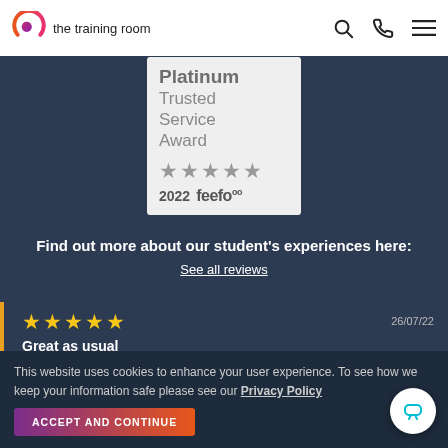the training room
[Figure (illustration): Feefo Platinum Trusted Service Award 2022 badge with 5 grey stars and feefo logo]
Find out more about our student's experiences here:
See all reviews
26/07/22
Great as usual
Very informative and understanding
This website uses cookies to enhance your user experience. To see how we keep your information safe please see our Privacy Policy
ACCEPT AND CONTINUE